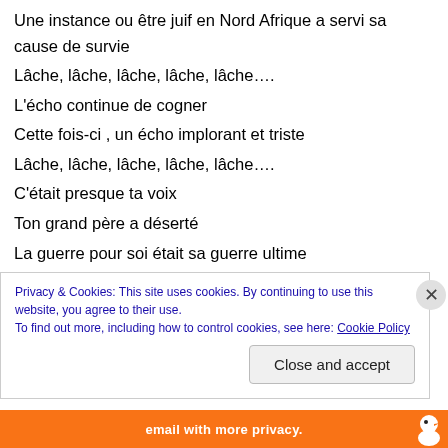Une instance ou être juif en Nord Afrique a servi sa cause de survie
Lâche, lâche, lâche, lâche, lâche….
L'écho continue de cogner
Cette fois-ci , un écho implorant et triste
Lâche, lâche, lâche, lâche, lâche….
C'était presque ta voix
Ton grand père a déserté
La guerre pour soi était sa guerre ultime
Sa tribu sa femme et ses enfants servaient sa cause
La guerre qui ne servait pas sa cause l'a réduit à un
Privacy & Cookies: This site uses cookies. By continuing to use this website, you agree to their use. To find out more, including how to control cookies, see here: Cookie Policy
Close and accept
email with more privacy.